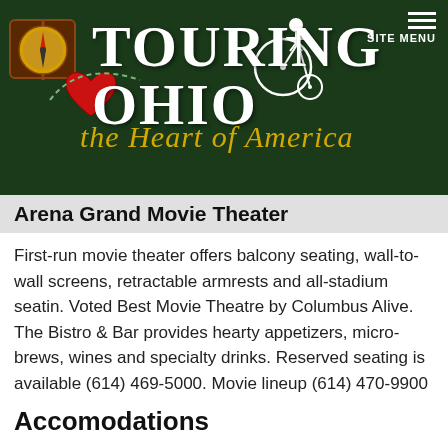[Figure (logo): Touring Ohio - the Heart of America website header banner with dark green background, compass image, red heart, cyclist on penny-farthing bicycle, and site menu icon]
Arena Grand Movie Theater
First-run movie theater offers balcony seating, wall-to-wall screens, retractable armrests and all-stadium seatin. Voted Best Movie Theatre by Columbus Alive. The Bistro & Bar provides hearty appetizers, micro-brews, wines and specialty drinks. Reserved seating is available (614) 469-5000. Movie lineup (614) 470-9900
Accomodations
Crowne Plaza offers excellent service and amenities for 384 guestrooms with meeting facilities for 50 - 500 guests. (614) 461-4100 / 33 Nationwide Blvd.